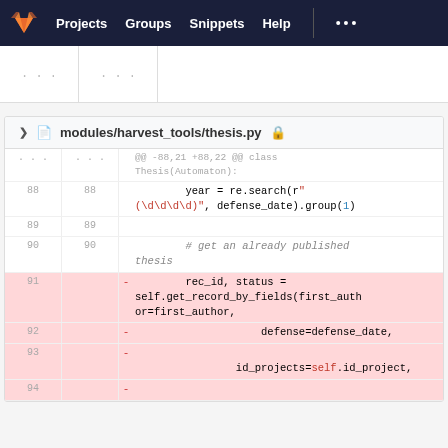Projects  Groups  Snippets  Help  ...
[Figure (screenshot): Truncated table rows with '...' placeholders in line number columns]
modules/harvest_tools/thesis.py
@@ -88,21 +88,22 @@ class Thesis(Automaton):
88  88      year = re.search(r"(\d\d\d\d)", defense_date).group(1)
89  89
90  90      # get an already published thesis
91  -   rec_id, status = self.get_record_by_fields(first_author=first_author,
92  -                   defense=defense_date,
93  -                   id_projects=self.id_project,
94  -